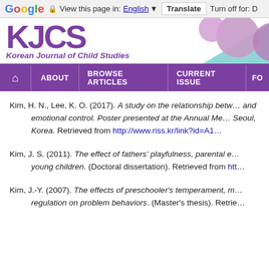Google — View this page in: English [▼] | Translate | Turn off for: D
[Figure (logo): KJCS (Korean Journal of Child Studies) journal header with purple logo text and decorative geometric shapes (spheres and triangles in purple and teal) on the right]
Navigation bar: Home | ABOUT | BROWSE ARTICLES | CURRENT ISSUE | FO...
Kim, H. N., Lee, K. O. (2017). A study on the relationship between... and emotional control. Poster presented at the Annual Me... Seoul, Korea. Retrieved from http://www.riss.kr/link?id=A1...
Kim, J. S. (2011). The effect of fathers' playfulness, parental e... young children. (Doctoral dissertation). Retrieved from htt...
Kim, J.-Y. (2007). The effects of preschooler's temperament, m... regulation on problem behaviors. (Master's thesis). Retrie...